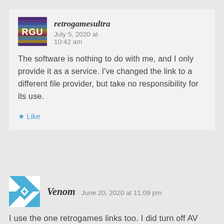[Figure (logo): RGU retrogamesultra avatar with colorful horizontal stripes and RGU text]
retrogamesultra   July 5, 2020 at 10:42 am
The software is nothing to do with me, and I only provide it as a service. I've changed the link to a different file provider, but take no responsibility for its use.
★ Like
[Figure (logo): Venom avatar with blue geometric diamond/cross pattern on white background]
Venom   June 20, 2020 at 11:09 pm
I use the one retrogames links too. I did turn off AV then exclude the folder. Be interested to see how you get along. I find some DC packs you can